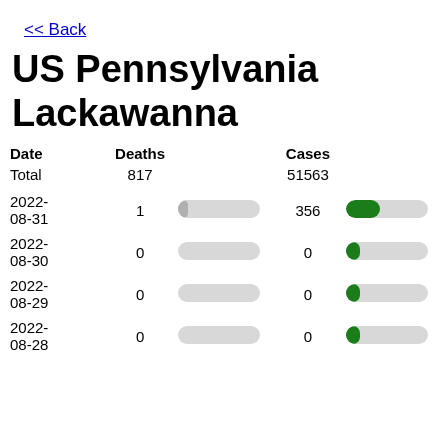<< Back
US Pennsylvania Lackawanna
| Date | Deaths | Deaths | Cases | Cases |
| --- | --- | --- | --- | --- |
| Total | 817 |  | 51563 |  |
| 2022-08-31 | 1 | [bar] | 356 | [bar] |
| 2022-08-30 | 0 | [bar] | 0 | [bar] |
| 2022-08-29 | 0 | [bar] | 0 | [bar] |
| 2022-08-28 | 0 | [bar] | 0 | [bar] |